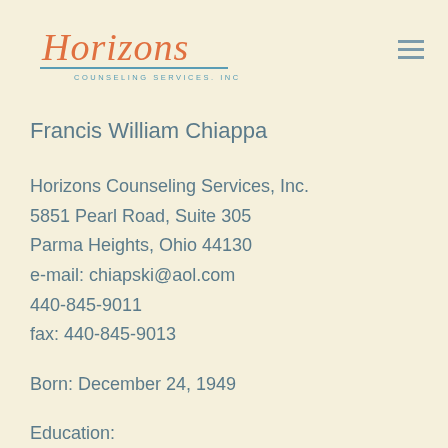[Figure (logo): Horizons Counseling Services, Inc. logo with orange italic script and teal underline]
Francis William Chiappa
Horizons Counseling Services, Inc.
5851 Pearl Road, Suite 305
Parma Heights, Ohio 44130
e-mail: chiapski@aol.com
440-845-9011
fax: 440-845-9013
Born: December 24, 1949
Education: